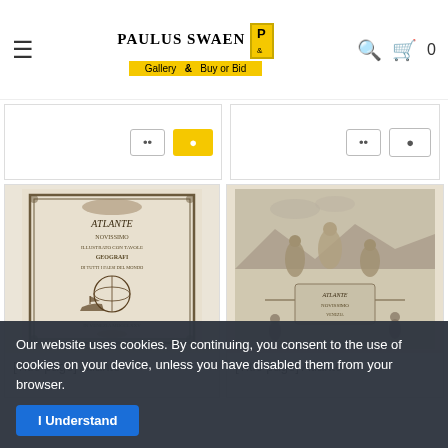Paulus Swaen Gallery & Buy or Bid
[Figure (photo): Left product card partial - antique map item with dots and bid buttons]
[Figure (photo): Right product card partial - antique map item with dots and bid buttons]
[Figure (photo): [Title page] Atlante - decorative engraved title page with ornate border, globe, ship, text in Italian, Venezia]
[Figure (photo): [Title page] Atlante - allegorical engraving with figures, instruments, classical scene]
[Title page] Atlante
[Title page] Atlante
Our website uses cookies. By continuing, you consent to the use of cookies on your device, unless you have disabled them from your browser.
I Understand